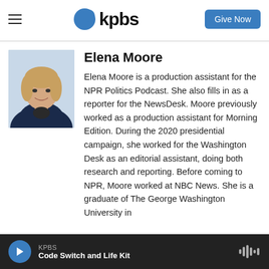KPBS
Elena Moore
[Figure (photo): Professional headshot of Elena Moore, a young woman with shoulder-length blonde hair wearing a dark blazer, photographed against a light blue background.]
Elena Moore is a production assistant for the NPR Politics Podcast. She also fills in as a reporter for the NewsDesk. Moore previously worked as a production assistant for Morning Edition. During the 2020 presidential campaign, she worked for the Washington Desk as an editorial assistant, doing both research and reporting. Before coming to NPR, Moore worked at NBC News. She is a graduate of The George Washington University in
KPBS
Code Switch and Life Kit